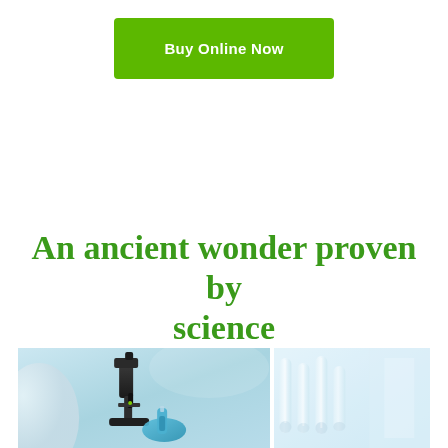[Figure (other): Green button labeled 'Buy Online Now']
An ancient wonder proven by science
[Figure (photo): Two laboratory photos side by side: left shows a microscope with a gloved hand holding a blue pipette/vial; right shows blurred laboratory glass tubes/vials in a light blue-toned setting.]